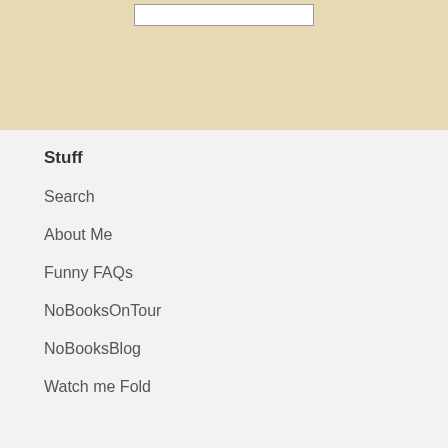[Figure (other): Top banner with tan/beige background containing a search input box outline]
Stuff
Search
About Me
Funny FAQs
NoBooksOnTour
NoBooksBlog
Watch me Fold